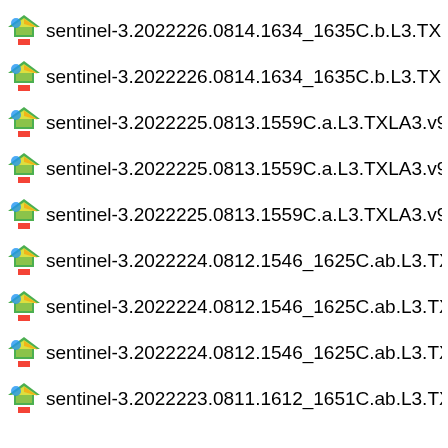sentinel-3.2022226.0814.1634_1635C.b.L3.TXL
sentinel-3.2022226.0814.1634_1635C.b.L3.TXL
sentinel-3.2022225.0813.1559C.a.L3.TXLA3.v95
sentinel-3.2022225.0813.1559C.a.L3.TXLA3.v95
sentinel-3.2022225.0813.1559C.a.L3.TXLA3.v95
sentinel-3.2022224.0812.1546_1625C.ab.L3.TX
sentinel-3.2022224.0812.1546_1625C.ab.L3.TX
sentinel-3.2022224.0812.1546_1625C.ab.L3.TX
sentinel-3.2022223.0811.1612_1651C.ab.L3.TX